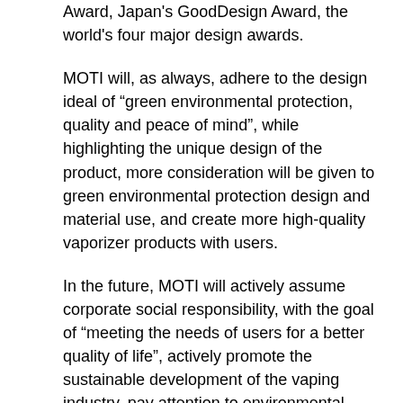Award, Japan's GoodDesign Award, the world's four major design awards.
MOTI will, as always, adhere to the design ideal of "green environmental protection, quality and peace of mind", while highlighting the unique design of the product, more consideration will be given to green environmental protection design and material use, and create more high-quality vaporizer products with users.
In the future, MOTI will actively assume corporate social responsibility, with the goal of "meeting the needs of users for a better quality of life", actively promote the sustainable development of the vaping industry, pay attention to environmental protection and social development, and create a more intelligent, safe and healthy society.